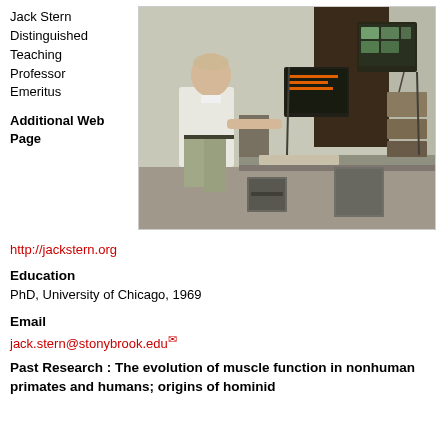Jack Stern Distinguished Teaching Professor Emeritus
Additional Web Page
[Figure (photo): Photo of Jack Stern standing next to a computer workstation with laboratory equipment, monitors, and electronic devices in a research lab setting]
http://jackstern.org
Education
PhD, University of Chicago, 1969
Email
jack.stern@stonybrook.edu
Past Research : The evolution of muscle function in nonhuman primates and humans; origins of hominid bipedalism